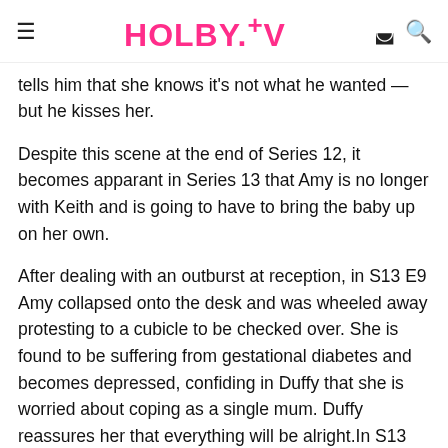HOLBY.TV
tells him that she knows it's not what he wanted — but he kisses her.
Despite this scene at the end of Series 12, it becomes apparant in Series 13 that Amy is no longer with Keith and is going to have to bring the baby up on her own.
After dealing with an outburst at reception, in S13 E9 Amy collapsed onto the desk and was wheeled away protesting to a cubicle to be checked over. She is found to be suffering from gestational diabetes and becomes depressed, confiding in Duffy that she is worried about coping as a single mum. Duffy reassures her that everything will be alright.In S13 E11, Sam asks Chloe why Charlie's in a bad mood; she says it's because of Eve's leave. Sam asks if it's a long holiday, like maternity leave, which upsets Amy and she walks out. After running after